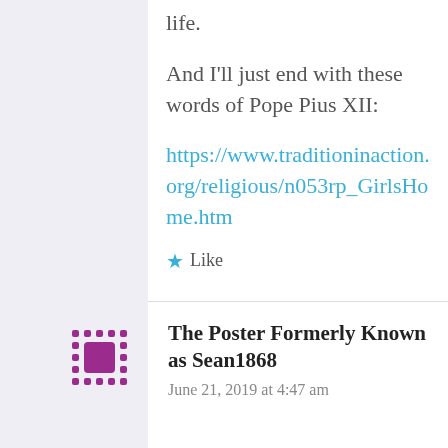life.
And I'll just end with these words of Pope Pius XII:
https://www.traditioninaction.org/religious/n053rp_GirlsHome.htm
★ Like
The Poster Formerly Known as Sean1868
June 21, 2019 at 4:47 am